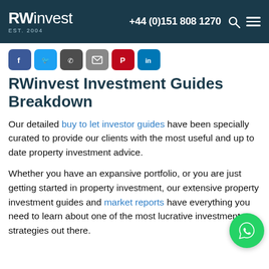RWinvest EST. 2004 | +44 (0)151 808 1270
[Figure (infographic): Social media share buttons: Facebook, Twitter, Phone, Email, Pinterest, LinkedIn]
RWinvest Investment Guides Breakdown
Our detailed buy to let investor guides have been specially curated to provide our clients with the most useful and up to date property investment advice.
Whether you have an expansive portfolio, or you are just getting started in property investment, our extensive property investment guides and market reports have everything you need to learn about one of the most lucrative investment strategies out there.
From rental yields, to capital appreciation, to finding tenants, we have covered a range of property investment